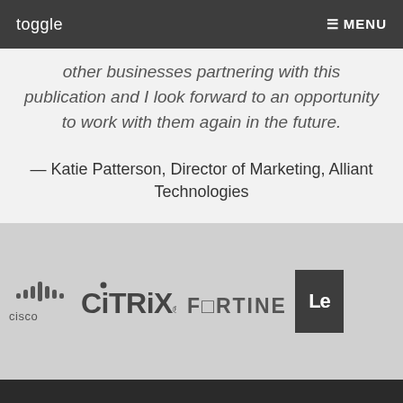toggle  ☰ MENU
participate in some of the design features. It is without reservation that I highly recommend other businesses partnering with this publication and I look forward to an opportunity to work with them again in the future.
— Katie Patterson, Director of Marketing, Alliant Technologies
[Figure (other): Teal horizontal decorative bar]
[Figure (logo): Logos of technology companies: Cisco, Citrix, Fortinet, Lenovo (partially visible)]